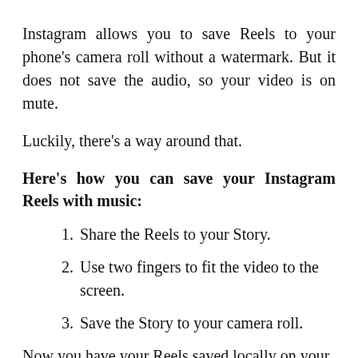Instagram allows you to save Reels to your phone's camera roll without a watermark. But it does not save the audio, so your video is on mute.
Luckily, there's a way around that.
Here's how you can save your Instagram Reels with music:
1. Share the Reels to your Story.
2. Use two fingers to fit the video to the screen.
3. Save the Story to your camera roll.
Now you have your Reels saved locally on your